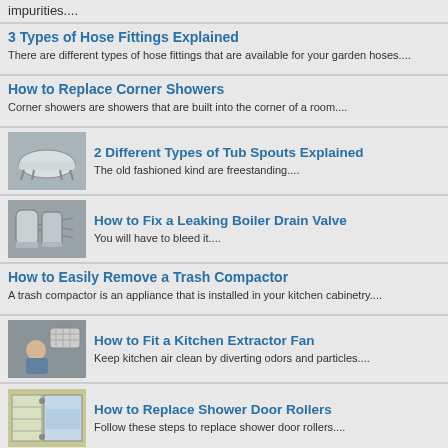impurities....
3 Types of Hose Fittings Explained
There are different types of hose fittings that are available for your garden hoses....
How to Replace Corner Showers
Corner showers are showers that are built into the corner of a room....
[Figure (photo): Freestanding bathtub/clawfoot tub]
2 Different Types of Tub Spouts Explained
The old fashioned kind are freestanding....
[Figure (photo): Water heater boiler units]
How to Fix a Leaking Boiler Drain Valve
You will have to bleed it....
How to Easily Remove a Trash Compactor
A trash compactor is an appliance that is installed in your kitchen cabinetry....
[Figure (photo): Person fitting a kitchen extractor fan]
How to Fit a Kitchen Extractor Fan
Keep kitchen air clean by diverting odors and particles....
[Figure (photo): Shower door rollers / bathroom shower]
How to Replace Shower Door Rollers
Follow these steps to replace shower door rollers....